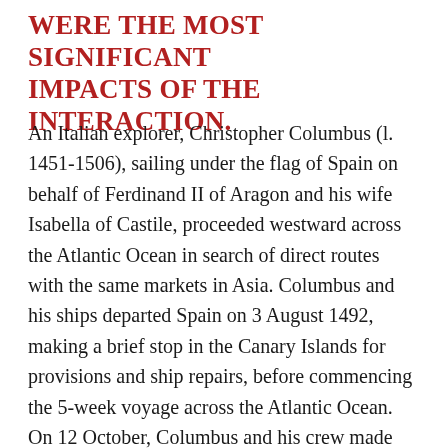WERE THE MOST SIGNIFICANT IMPACTS OF THE INTERACTION.
An Italian explorer, Christopher Columbus (l. 1451-1506), sailing under the flag of Spain on behalf of Ferdinand II of Aragon and his wife Isabella of Castile, proceeded westward across the Atlantic Ocean in search of direct routes with the same markets in Asia. Columbus and his ships departed Spain on 3 August 1492, making a brief stop in the Canary Islands for provisions and ship repairs, before commencing the 5-week voyage across the Atlantic Ocean. On 12 October, Columbus and his crew made landfall in what is now the Bahamas on an island that the native people called Guanahani, which Columbus renamed San Salvador. Following